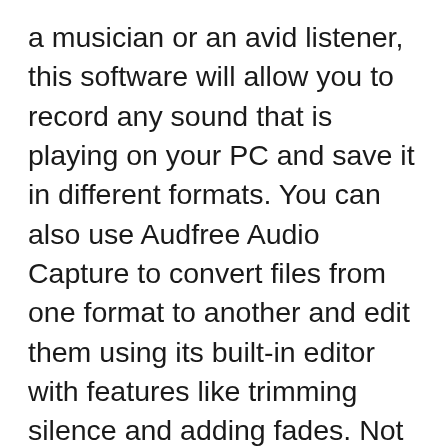a musician or an avid listener, this software will allow you to record any sound that is playing on your PC and save it in different formats. You can also use Audfree Audio Capture to convert files from one format to another and edit them using its built-in editor with features like trimming silence and adding fades. Not only does this software come with many features but it's also easy to learn so you'll be able to get started right away!
Audio Capture is a Windows and Mac program for recording and editing audio. This program can keep track of any sound. It can monitor its application, but also with...